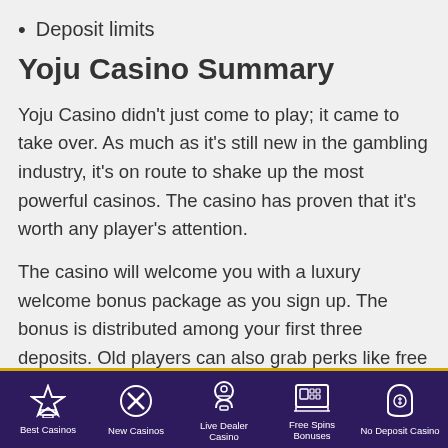Deposit limits
Yoju Casino Summary
Yoju Casino didn't just come to play; it came to take over. As much as it's still new in the gambling industry, it's on route to shake up the most powerful casinos. The casino has proven that it's worth any player's attention.
The casino will welcome you with a luxury welcome bonus package as you sign up. The bonus is distributed among your first three deposits. Old players can also grab perks like free spins, reload
Best Casinos | New Casinos | Live Dealer Casino | Free Spins Bonuses | No Deposit Casino